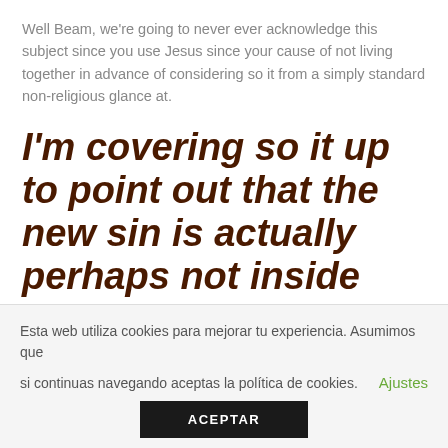Well Beam, we're going to never ever acknowledge this subject since you use Jesus since your cause of not living together in advance of considering so it from a simply standard non-religious glance at.
I'm covering so it up to point out that the new sin is actually perhaps not inside the way of living along with her, it's in the gender(fornication)
Esta web utiliza cookies para mejorar tu experiencia. Asumimos que si continuas navegando aceptas la política de cookies.    Ajustes
ACEPTAR